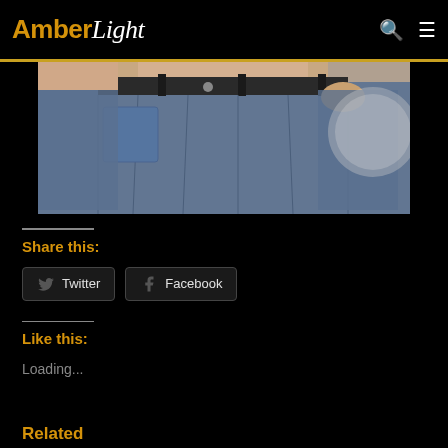AmberLight
[Figure (photo): Person holding oversized jeans waistband, showing significant weight loss result]
Share this:
Twitter  Facebook
Like this:
Loading...
Related